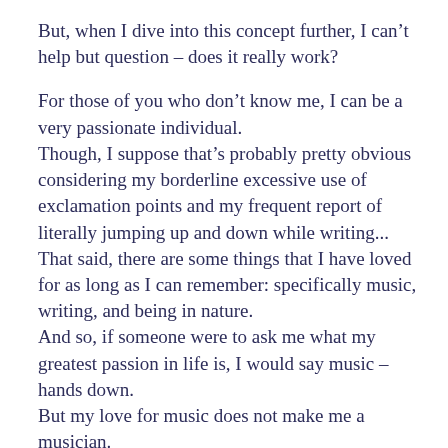But, when I dive into this concept further, I can't help but question – does it really work?
For those of you who don't know me, I can be a very passionate individual.
Though, I suppose that's probably pretty obvious considering my borderline excessive use of exclamation points and my frequent report of literally jumping up and down while writing...
That said, there are some things that I have loved for as long as I can remember: specifically music, writing, and being in nature.
And so, if someone were to ask me what my greatest passion in life is, I would say music – hands down.
But my love for music does not make me a musician.
Yes, I have put in countless hours learning and playing various instruments.
But yet my passion does not yield perfection; there